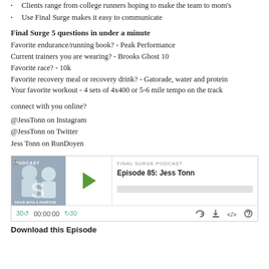Clients range from college runners hoping to make the team to mom's
Use Final Surge makes it easy to communicate
Final Surge 5 questions in under a minute
Favorite endurance/running book? - Peak Performance
Current trainers you are wearing? - Brooks Ghost 10
Favorite race? - 10k
Favorite recovery meal or recovery drink? - Gatorade, water and protein
Your favorite workout - 4 sets of 4x400 or 5-6 mile tempo on the track
connect with you online?
@JessTonn on Instagram
@JessTonn on Twitter
Jess Tonn on RunDoyen
[Figure (screenshot): Final Surge Podcast audio player widget showing Episode 85: Jess Tonn with play button, progress bar, and controls]
Download this Episode